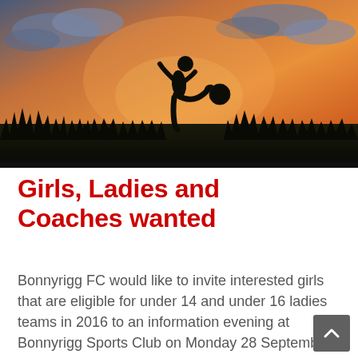[Figure (photo): Silhouette of a female soccer player kicking a ball against an orange sunset sky with dark grass and clouds in the background]
Girls, Ladies and Coaches wanted
Bonnyrigg FC would like to invite interested girls that are eligible for under 14 and under 16 ladies teams in 2016 to an information evening at Bonnyrigg Sports Club on Monday 28 September 2015 at ... More